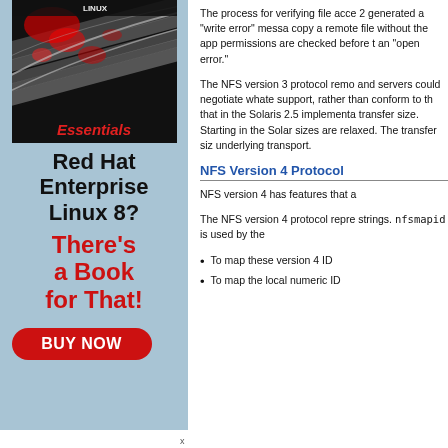[Figure (illustration): Book advertisement for Red Hat Enterprise Linux 8. Shows a book cover with dark background and red streaks at top labeled 'Essentials', then bold black text 'Red Hat Enterprise Linux 8?' and red italic text 'There's a Book for That!' with a red 'BUY NOW' button.]
The process for verifying file acce 2 generated a "write error" messa copy a remote file without the app permissions are checked before t an "open error."
The NFS version 3 protocol remo and servers could negotiate whate support, rather than conform to th that in the Solaris 2.5 implementa transfer size. Starting in the Sola sizes are relaxed. The transfer siz underlying transport.
NFS Version 4 Protocol
NFS version 4 has features that a
The NFS version 4 protocol repre strings. nfsmapid is used by the
To map these version 4 ID
To map the local numeric ID